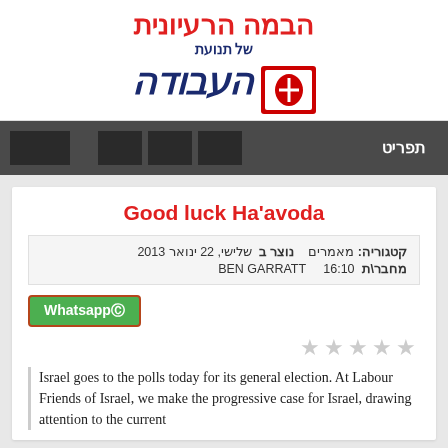[Figure (logo): Logo of Ha'avoda party - Hebrew text in red reading 'הבמה הרעיונית' and blue italic Hebrew 'העבודה' with party emblem]
תפריט
Good luck Ha'avoda
קטגוריה: מאמרים   נוצר ב  שלישי, 22 ינואר 2013
מחבר\ת  BEN GARRATT   16:10
[Figure (screenshot): Whatsapp share button in green with WhatsApp logo]
★★★★★ (rating stars, greyed out)
Israel goes to the polls today for its general election. At Labour Friends of Israel, we make the progressive case for Israel, drawing attention to the current...